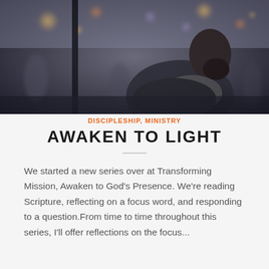[Figure (photo): Black and white urban street scene showing a bearded man in a dark jacket looking upward, with blurry crowd and bokeh city lights in the background]
DISCIPLESHIP, MINISTRY
AWAKEN TO LIGHT
We started a new series over at Transforming Mission, Awaken to God's Presence. We're reading Scripture, reflecting on a focus word, and responding to a question.From time to time throughout this series, I'll offer reflections on the focus...